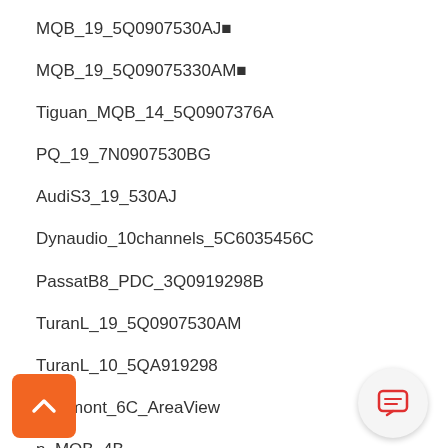MQB_19_5Q0907530AJ■
MQB_19_5Q09075330AM■
Tiguan_MQB_14_5Q0907376A
PQ_19_7N0907530BG
AudiS3_19_530AJ
Dynaudio_10channels_5C6035456C
PassatB8_PDC_3Q0919298B
TuranL_19_5Q0907530AM
TuranL_10_5QA919298
Teramont_6C_AreaView
n_MQB_4B